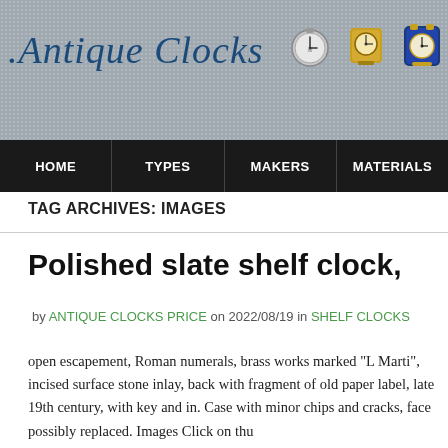.Antique Clocks
[Figure (illustration): Three decorative antique clock images in the header banner]
HOME | TYPES | MAKERS | MATERIALS
TAG ARCHIVES: IMAGES
Polished slate shelf clock,
by ANTIQUE CLOCKS PRICE on 2022/08/19 in SHELF CLOCKS
open escapement, Roman numerals, brass works marked “L Marti”, incised surface stone inlay, back with fragment of old paper label, late 19th century, with key and in. Case with minor chips and cracks, face possibly replaced. Images Click on thu…